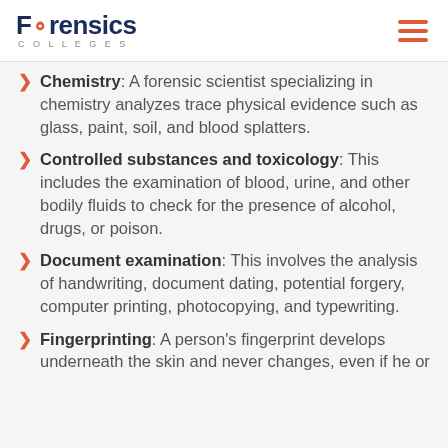Forensics Colleges
Chemistry: A forensic scientist specializing in chemistry analyzes trace physical evidence such as glass, paint, soil, and blood splatters.
Controlled substances and toxicology: This includes the examination of blood, urine, and other bodily fluids to check for the presence of alcohol, drugs, or poison.
Document examination: This involves the analysis of handwriting, document dating, potential forgery, computer printing, photocopying, and typewriting.
Fingerprinting: A person's fingerprint develops underneath the skin and never changes, even if he or